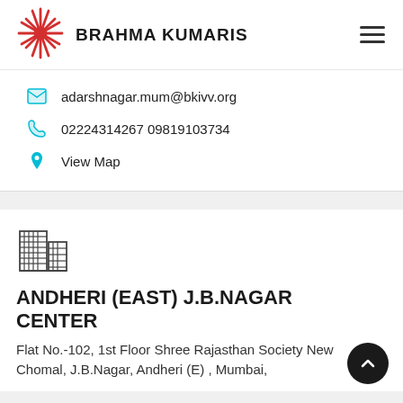[Figure (logo): Brahma Kumaris logo: red sunburst/starburst emblem with a central dot]
BRAHMA KUMARIS
adarshnagar.mum@bkivv.org
02224314267 09819103734
View Map
[Figure (illustration): Building/office tower icon in outline style]
ANDHERI (EAST) J.B.NAGAR CENTER
Flat No.-102, 1st Floor Shree Rajasthan Society New Chomal, J.B.Nagar, Andheri (E) , Mumbai,